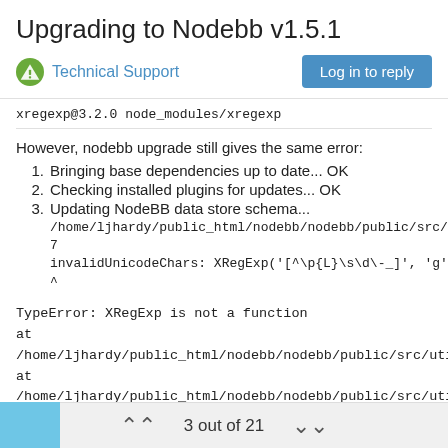Upgrading to Nodebb v1.5.1
Technical Support
xregexp@3.2.0 node_modules/xregexp
However, nodebb upgrade still gives the same error:
Bringing base dependencies up to date... OK
Checking installed plugins for updates... OK
Updating NodeBB data store schema...
/home/ljhardy/public_html/nodebb/nodebb/public/src/utils.js:37
invalidUnicodeChars: XRegExp('[^\p{L}\s\d\-_]', 'g'),
^
TypeError: XRegExp is not a function
at
/home/ljhardy/public_html/nodebb/nodebb/public/src/utils.js:37:24
at /home/ljhardy/public_html/nodebb/nodebb/public/src/utils.js:8:20
at Object.<anonymous>
(/home/ljhardy/public_html/nodebb/nodebb/public/src/utils.js:27:2)
3 out of 21